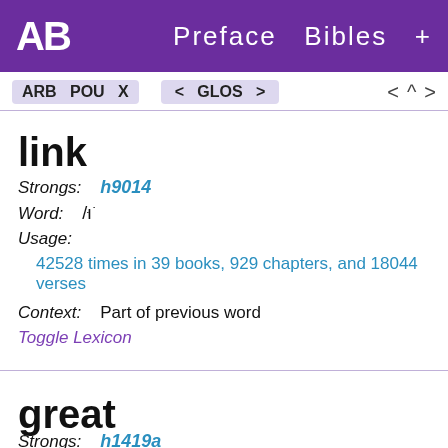AB   Preface  Bibles  +
ARB POU X   < GLOS >   < ^ >
link
Strongs: h9014
Word: ־/וּ
Usage:
42528 times in 39 books, 929 chapters, and 18044 verses
Context:   Part of previous word
Toggle Lexicon
great
Strongs: h1419a